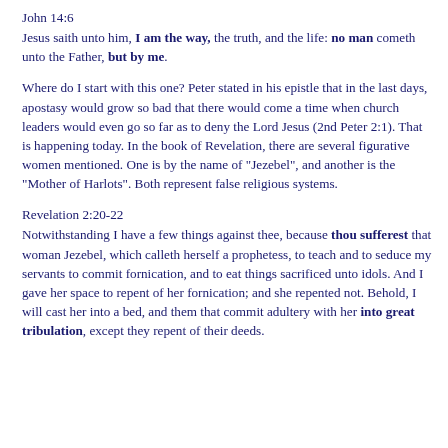John 14:6
Jesus saith unto him, I am the way, the truth, and the life: no man cometh unto the Father, but by me.
Where do I start with this one? Peter stated in his epistle that in the last days, apostasy would grow so bad that there would come a time when church leaders would even go so far as to deny the Lord Jesus (2nd Peter 2:1). That is happening today. In the book of Revelation, there are several figurative women mentioned. One is by the name of "Jezebel", and another is the "Mother of Harlots". Both represent false religious systems.
Revelation 2:20-22
Notwithstanding I have a few things against thee, because thou sufferest that woman Jezebel, which calleth herself a prophetess, to teach and to seduce my servants to commit fornication, and to eat things sacrificed unto idols. And I gave her space to repent of her fornication; and she repented not. Behold, I will cast her into a bed, and them that commit adultery with her into great tribulation, except they repent of their deeds.